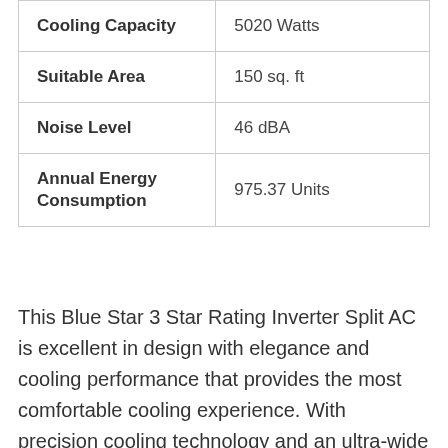|  |  |
| --- | --- |
| Cooling Capacity | 5020 Watts |
| Suitable Area | 150 sq. ft |
| Noise Level | 46 dBA |
| Annual Energy Consumption | 975.37 Units |
This Blue Star 3 Star Rating Inverter Split AC is excellent in design with elegance and cooling performance that provides the most comfortable cooling experience. With precision cooling technology and an ultra-wide frequency microprocessor-based controller, the air conditioner intelligently changes the operating